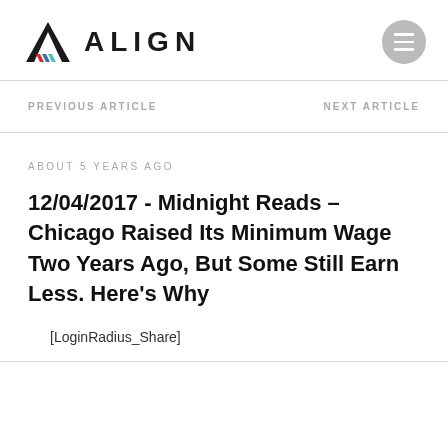[Figure (logo): Align logo with stylized A icon and bold ALIGN text]
PREVIOUS ARTICLE
NEXT ARTICLE
ABOUT 5 YEARS AGO
12/04/2017 - Midnight Reads – Chicago Raised Its Minimum Wage Two Years Ago, But Some Still Earn Less. Here's Why
[LoginRadius_Share]